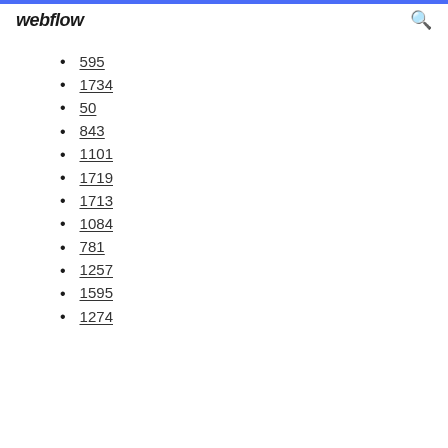webflow
595
1734
50
843
1101
1719
1713
1084
781
1257
1595
1274